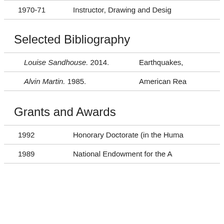1970-71    Instructor, Drawing and Desig
Selected Bibliography
Louise Sandhouse. 2014.    Earthquakes,
Alvin Martin. 1985.    American Rea
Grants and Awards
1992    Honorary Doctorate (in the Huma
1989    National Endowment for the A